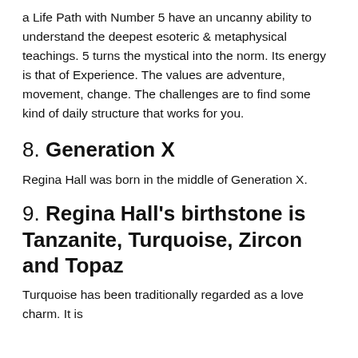a Life Path with Number 5 have an uncanny ability to understand the deepest esoteric & metaphysical teachings. 5 turns the mystical into the norm. Its energy is that of Experience. The values are adventure, movement, change. The challenges are to find some kind of daily structure that works for you.
8. Generation X
Regina Hall was born in the middle of Generation X.
9. Regina Hall's birthstone is Tanzanite, Turquoise, Zircon and Topaz
Turquoise has been traditionally regarded as a love charm. It is